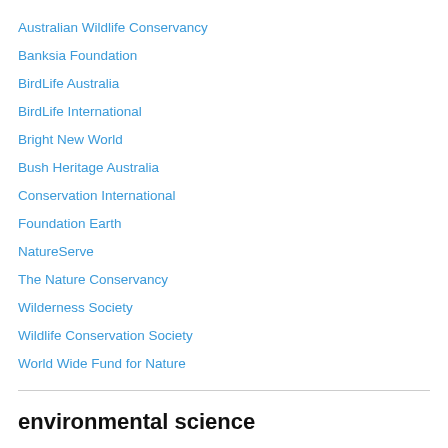Australian Wildlife Conservancy
Banksia Foundation
BirdLife Australia
BirdLife International
Bright New World
Bush Heritage Australia
Conservation International
Foundation Earth
NatureServe
The Nature Conservancy
Wilderness Society
Wildlife Conservation Society
World Wide Fund for Nature
environmental science
Hot Topics in Ecology
The Conversation (Environment)